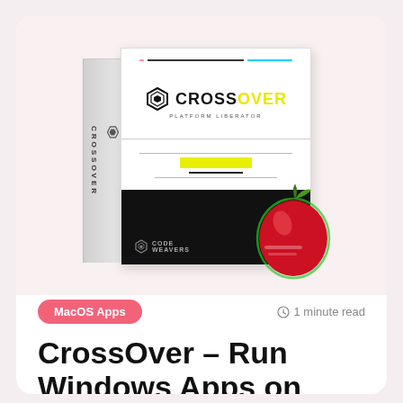[Figure (photo): CrossOver software box with CROSSOVER PLATFORM LIBERATOR branding, showing Mac, Linux & Chrome OS compatibility, with a red apple icon overlaid in the bottom right corner of the box image]
MacOS Apps
⊙ 1 minute read
CrossOver – Run Windows Apps on Your